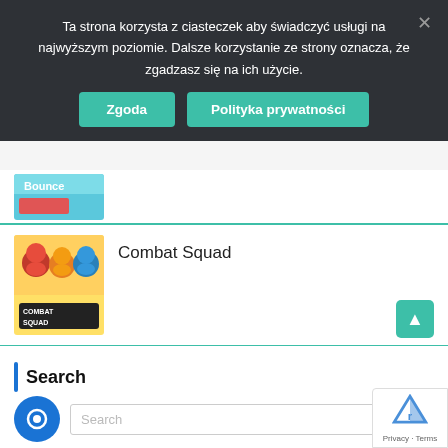Ta strona korzysta z ciasteczek aby świadczyć usługi na najwyższym poziomie. Dalsze korzystanie ze strony oznacza, że zgadzasz się na ich użycie.
Zgoda
Polityka prywatności
[Figure (screenshot): Partial game thumbnail for Bouncer/top game (partially cropped at top)]
[Figure (screenshot): Combat Squad game thumbnail showing cartoon characters in racing helmets with 'Combat Squad' logo]
Combat Squad
[Figure (screenshot): Moley the Purple Mole game thumbnail showing platform game with 'Level Complete' screen]
Moley the Purple Mole
Search
Search